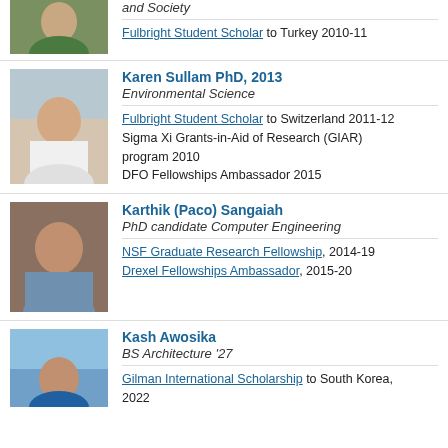[Figure (photo): Photo of first person (partial, top of page)]
and Society
Fulbright Student Scholar to Turkey 2010-11
[Figure (photo): Photo of Karen Sullam]
Karen Sullam PhD, 2013
Environmental Science
Fulbright Student Scholar to Switzerland 2011-12
Sigma Xi Grants-in-Aid of Research (GIAR) program 2010
DFO Fellowships Ambassador 2015
[Figure (photo): Photo of Karthik (Paco) Sangaiah]
Karthik (Paco) Sangaiah
PhD candidate Computer Engineering
NSF Graduate Research Fellowship, 2014-19
Drexel Fellowships Ambassador, 2015-20
[Figure (photo): Photo of Kash Awosika]
Kash Awosika
BS Architecture '27
Gilman International Scholarship to South Korea, 2022